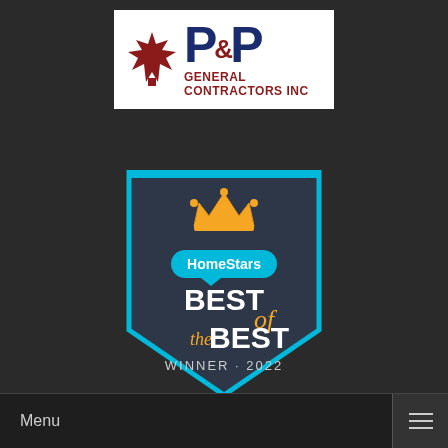[Figure (logo): P&P General Contractors Inc logo with Canadian maple leaf and company name]
[Figure (logo): HomeStars Best of the Best Winner 2022 badge/shield in dark navy with cyan border, crown icon and orange/white text]
Menu